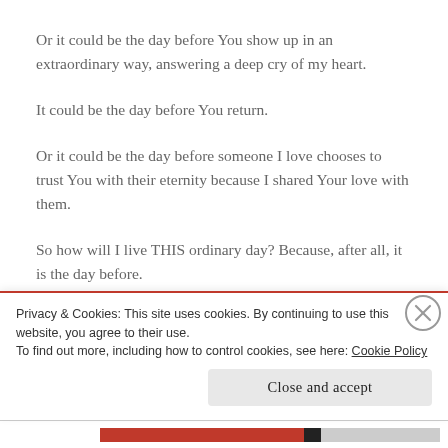Or it could be the day before You show up in an extraordinary way, answering a deep cry of my heart.
It could be the day before You return.
Or it could be the day before someone I love chooses to trust You with their eternity because I shared Your love with them.
So how will I live THIS ordinary day? Because, after all, it is the day before.
Privacy & Cookies: This site uses cookies. By continuing to use this website, you agree to their use.
To find out more, including how to control cookies, see here: Cookie Policy
Close and accept